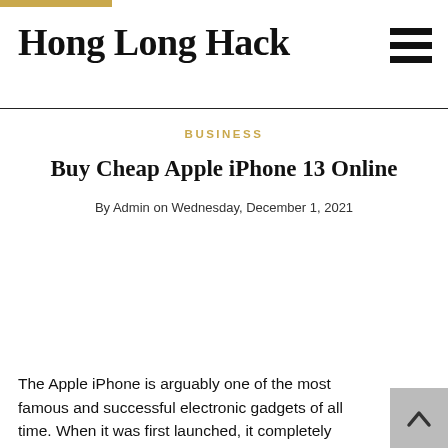Hong Long Hack
BUSINESS
Buy Cheap Apple iPhone 13 Online
By Admin on Wednesday, December 1, 2021
The Apple iPhone is arguably one of the most famous and successful electronic gadgets of all time. When it was first launched, it completely